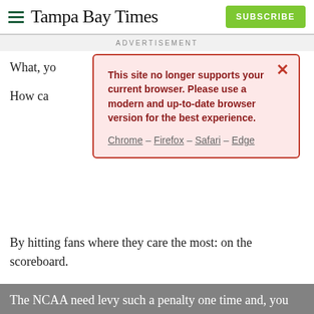Tampa Bay Times — SUBSCRIBE
ADVERTISEMENT
[Figure (screenshot): Browser compatibility modal overlay with red border on pink background. Message: 'This site no longer supports your current browser. Please use a modern and up-to-date browser version for the best experience.' Links: Chrome – Firefox – Safari – Edge. Red × close button.]
What, yo
How ca
By hitting fans where they care the most: on the scoreboard.
Do you suppose it might have an impact if the NCAA announced sanctions for teams with out-of-control fans? Loss of scholarships? Bowl bans? Maybe even an automatic forfeit of the game supposedly being feted?
The NCAA need levy such a penalty one time and, you